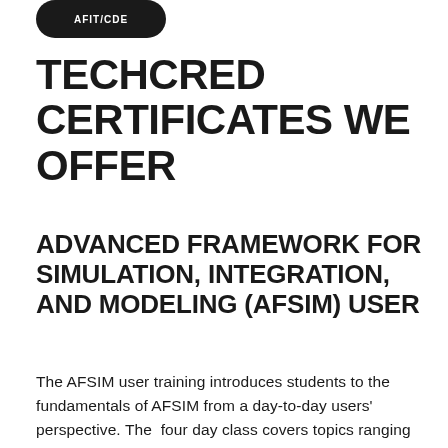[Figure (logo): Dark rounded pill/badge shape with white text reading 'AFIT/CDE']
TECHCRED CERTIFICATES WE OFFER
ADVANCED FRAMEWORK FOR SIMULATION, INTEGRATION, AND MODELING (AFSIM) USER
The AFSIM user training introduces students to the fundamentals of AFSIM from a day-to-day users' perspective. The  four day class covers topics ranging from the fundamentals of platforms and inheritance to building multi-domain scenarios as well as an introduction to AFSIM's scripting...